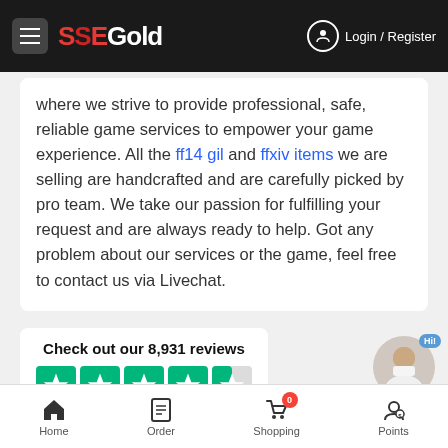SSEGold — Login / Register
where we strive to provide professional, safe, reliable game services to empower your game experience. All the ff14 gil and ffxiv items we are selling are handcrafted and are carefully picked by pro team. We take our passion for fulfilling your request and are always ready to help. Got any problem about our services or the game, feel free to contact us via Livechat.
[Figure (screenshot): Trustpilot widget showing 'Check out our 8,931 reviews' with 4.5 green stars and Trustpilot logo]
Home | Order | Shopping 0 | Points